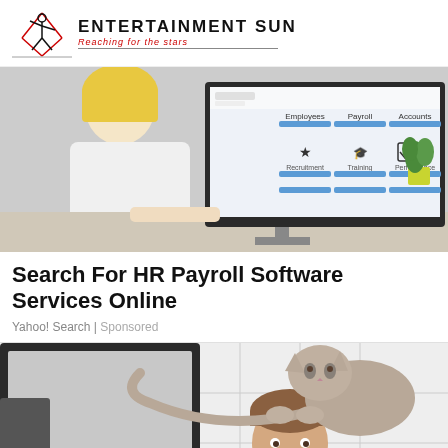ENTERTAINMENT SUN — Reaching for the stars
[Figure (photo): Woman sitting at a desk using a computer displaying an HR software dashboard with sections for Employees, Payroll, Accounts, Recruitment, Training, and Performance]
Search For HR Payroll Software Services Online
Yahoo! Search | Sponsored
[Figure (photo): Man smiling in a bathroom with a cat sitting on his head/shoulder, white tile background with a dark-framed mirror]